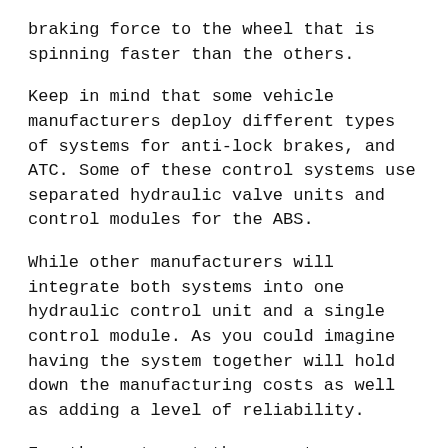braking force to the wheel that is spinning faster than the others.
Keep in mind that some vehicle manufacturers deploy different types of systems for anti-lock brakes, and ATC. Some of these control systems use separated hydraulic valve units and control modules for the ABS.
While other manufacturers will integrate both systems into one hydraulic control unit and a single control module. As you could imagine having the system together will hold down the manufacturing costs as well as adding a level of reliability.
For the most part these systems are very reliable as proven by car manufacturer reports on this subject. But on an integrated system if a hydraulic valve needed to be replaced I would imagine that this would be a very expensive car part on most vehicles.
Automotive testing reports that the systems are a fast...